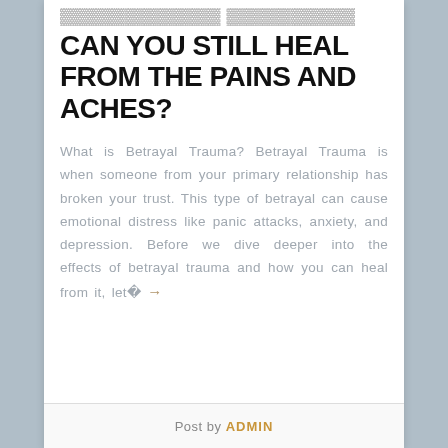CAN YOU STILL HEAL FROM THE PAINS AND ACHES?
What is Betrayal Trauma? Betrayal Trauma is when someone from your primary relationship has broken your trust. This type of betrayal can cause emotional distress like panic attacks, anxiety, and depression. Before we dive deeper into the effects of betrayal trauma and how you can heal from it, let� →
Post by ADMIN